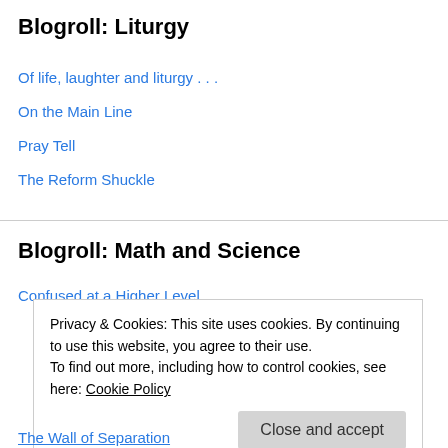Blogroll: Liturgy
Of life, laughter and liturgy . . .
On the Main Line
Pray Tell
The Reform Shuckle
Blogroll: Math and Science
Confused at a Higher Level
European Scientist 2011
sciencewomen
Tanya Khovanova's Math Blog
Privacy & Cookies: This site uses cookies. By continuing to use this website, you agree to their use.
To find out more, including how to control cookies, see here: Cookie Policy
The Wall of Separation